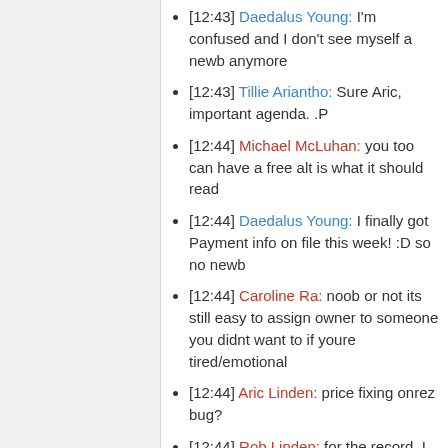[12:43] Daedalus Young: I'm confused and I don't see myself a newb anymore
[12:43] Tillie Ariantho: Sure Aric, important agenda. .P
[12:44] Michael McLuhan: you too can have a free alt is what it should read
[12:44] Daedalus Young: I finally got Payment info on file this week! :D so no newb
[12:44] Caroline Ra: noob or not its still easy to assign owner to someone you didnt want to if youre tired/emotional
[12:44] Aric Linden: price fixing onrez bug?
[12:44] Rob Linden: for the record, I wasn't aware of a change in policy there